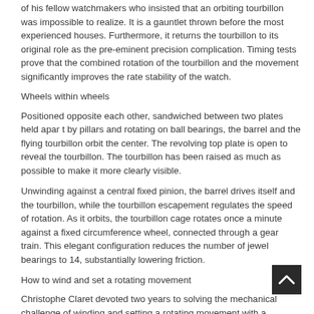of his fellow watchmakers who insisted that an orbiting tourbillon was impossible to realize. It is a gauntlet thrown before the most experienced houses. Furthermore, it returns the tourbillon to its original role as the pre-eminent precision complication. Timing tests prove that the combined rotation of the tourbillon and the movement significantly improves the rate stability of the watch.
Wheels within wheels
Positioned opposite each other, sandwiched between two plates held apar t by pillars and rotating on ball bearings, the barrel and the flying tourbillon orbit the center. The revolving top plate is open to reveal the tourbillon. The tourbillon has been raised as much as possible to make it more clearly visible.
Unwinding against a central fixed pinion, the barrel drives itself and the tourbillon, while the tourbillon escapement regulates the speed of rotation. As it orbits, the tourbillon cage rotates once a minute against a fixed circumference wheel, connected through a gear train. This elegant configuration reduces the number of jewel bearings to 14, substantially lowering friction.
How to wind and set a rotating movement
Christophe Claret devoted two years to solving the mechanical challenge of winding and setting a rotating movement with a mainspring barrel that never stays in one place. The conventional crown through the case-band was obviously impossible.
Winding and setting the crown...